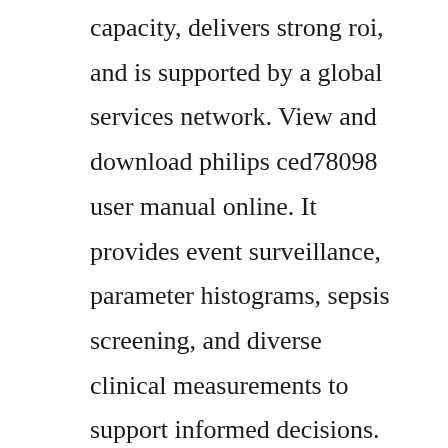capacity, delivers strong roi, and is supported by a global services network. View and download philips ced78098 user manual online. It provides event surveillance, parameter histograms, sepsis screening, and diverse clinical measurements to support informed decisions. From mobile units to complete digital xray rooms, we can provide a radiography solution that fits your workflow and budget. Integrated and seamless radiology solutions that improve radiology workflow. Digitaldiagnost c50 pairs performance with easeofownership. View and download philips